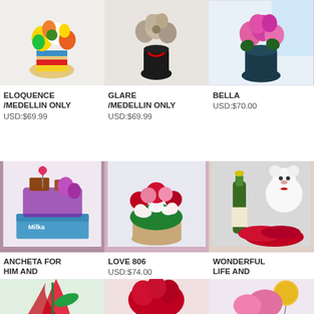[Figure (photo): Colorful flower arrangement in striped vase on white fur background]
[Figure (photo): Flower bouquet in black vase with red ribbon]
[Figure (photo): Pink flowers in dark blue vase near window]
ELOQUENCE /MEDELLIN ONLY USD:$69.99
GLARE /MEDELLIN ONLY USD:$69.99
BELLA USD:$70.00
[Figure (photo): Gift basket with chocolates, flowers and Milka box]
[Figure (photo): Mixed rose bouquet with red, pink and white roses]
[Figure (photo): Champagne bottle with white teddy bear and red roses]
ANCHETA FOR HIM AND STRAWBERRIES IN BOX USD:$73.00
LOVE 806 USD:$74.00
WONDERFUL LIFE AND HAPPINESS USD:$74.50
[Figure (photo): Tropical red flower arrangement]
[Figure (photo): Red rose bouquet arrangement]
[Figure (photo): Pink flowers with colorful balloon]